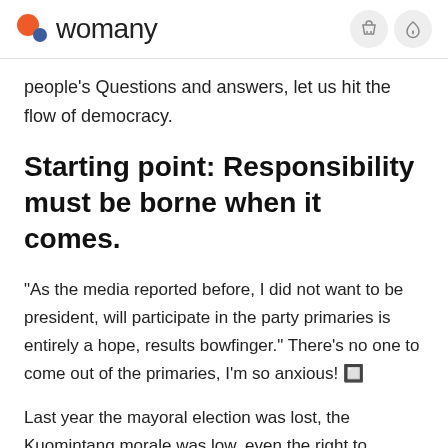womany
people's Questions and answers, let us hit the flow of democracy.
Starting point: Responsibility must be borne when it comes.
"As the media reported before, I did not want to be president, will participate in the party primaries is entirely a hope, results bowfinger." There's no one to come out of the primaries, I'm so anxious! 🔲
Last year the mayoral election was lost, the Kuomintang morale was low, even the right to